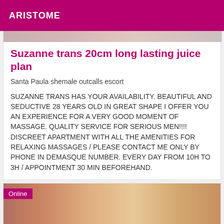ARISTOME
[Figure (photo): Partial image strip showing blurred/cropped photos of people at the top of a listing card]
Suzanne trans 20cm long lasting juice plan
Santa Paula shemale outcalls escort
SUZANNE TRANS HAS YOUR AVAILABILITY. BEAUTIFUL AND SEDUCTIVE 28 YEARS OLD IN GREAT SHAPE I OFFER YOU AN EXPERIENCE FOR A VERY GOOD MOMENT OF MASSAGE. QUALITY SERVICE FOR SERIOUS MEN!!!! DISCREET APARTMENT WITH ALL THE AMENITIES FOR RELAXING MASSAGES / PLEASE CONTACT ME ONLY BY PHONE IN DEMASQUE NUMBER. EVERY DAY FROM 10H TO 3H / APPOINTMENT 30 MIN BEFOREHAND.
[Figure (photo): Partial photo of a blonde woman holding a pink phone, with an 'Online' badge overlay]